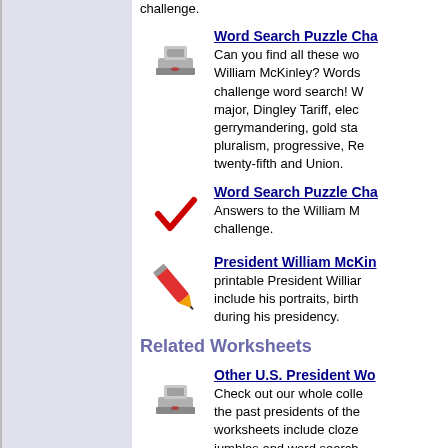challenge.
[Figure (illustration): Stamp/eraser icon for word search puzzle]
Word Search Puzzle Cha... Can you find all these words about William McKinley? Words challenge word search! major, Dingley Tariff, elec gerrymandering, gold sta pluralism, progressive, Re twenty-fifth and Union.
[Figure (illustration): Red checkmark icon]
Word Search Puzzle Cha... Answers to the William M challenge.
[Figure (illustration): Red pencil/crayon icon]
President William McKin... printable President William include his portraits, birth during his presidency.
Related Worksheets
[Figure (illustration): Stamp/eraser icon for Other U.S. President worksheets]
Other U.S. President Wo... Check out our whole colle the past presidents of the worksheets include cloze jumbles and word search
[Figure (illustration): Red pencil/crayon icon for Other U.S. President Clo...]